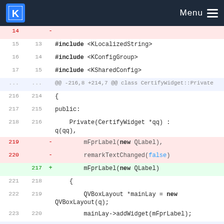KDE Menu
[Figure (screenshot): Code diff view showing C++ source changes. Lines 14-254 visible with deletions (red background) and additions (green background). Deleted lines: mFprLabel(new QLabel), and remarkTextChanged(false). Added line: mFprLabel(new QLabel). Context includes #include statements, class CertifyWidget::Private, public: section, constructor, and layout code.]